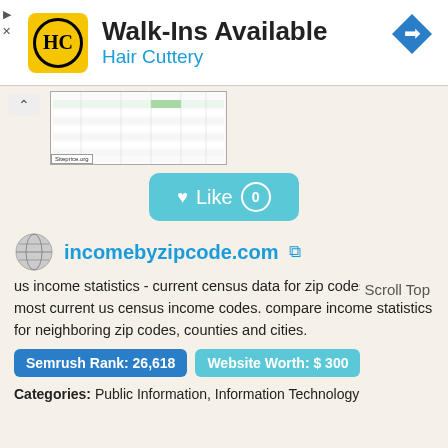[Figure (infographic): Advertisement banner for Hair Cuttery salon showing logo, 'Walk-Ins Available' text, and navigation icon]
[Figure (screenshot): Thumbnail preview of incomebyzipcode.com showing a table of income statistics data with siteprice.org watermark]
[Figure (infographic): Like button with heart icon showing 0 likes on a teal/blue background]
incomebyzipcode.com
us income statistics - current census data for zip codes get the most current us census income codes. compare income statistics for neighboring zip codes, counties and cities.
Scroll Top
Semrush Rank: 26,618
Website Worth: $ 300
Categories: Public Information, Information Technology